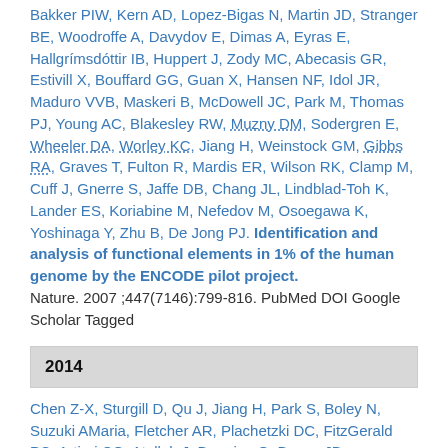Bakker PIW, Kern AD, Lopez-Bigas N, Martin JD, Stranger BE, Woodroffe A, Davydov E, Dimas A, Eyras E, Hallgrímsdóttir IB, Huppert J, Zody MC, Abecasis GR, Estivill X, Bouffard GG, Guan X, Hansen NF, Idol JR, Maduro VVB, Maskeri B, McDowell JC, Park M, Thomas PJ, Young AC, Blakesley RW, Muzny DM, Sodergren E, Wheeler DA, Worley KC, Jiang H, Weinstock GM, Gibbs RA, Graves T, Fulton R, Mardis ER, Wilson RK, Clamp M, Cuff J, Gnerre S, Jaffe DB, Chang JL, Lindblad-Toh K, Lander ES, Koriabine M, Nefedov M, Osoegawa K, Yoshinaga Y, Zhu B, De Jong PJ. Identification and analysis of functional elements in 1% of the human genome by the ENCODE pilot project. Nature. 2007;447(7146):799-816. PubMed DOI Google Scholar Tagged
2014
Chen Z-X, Sturgill D, Qu J, Jiang H, Park S, Boley N, Suzuki AMaria, Fletcher AR, Plachetzki DC, FitzGerald PC, Artieri CG, Atallah J, Barmina O, Brown JB, Blankenburg KP, Clough E, Dasgupta A, Gubbala S, Han Y, Jayaseelan JC, Kalra D, Kim Y-A, Kovar CL, Lee SL, Li M, Malley JD, Malone JH, Mathew T, Mattiuzzo NR, Munidasa M, Muzny DM, Ongeri F, Perales L,